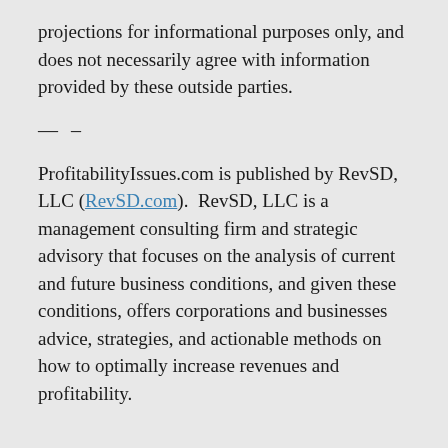projections for informational purposes only, and does not necessarily agree with information provided by these outside parties.
— –
ProfitabilityIssues.com is published by RevSD, LLC (RevSD.com). RevSD, LLC is a management consulting firm and strategic advisory that focuses on the analysis of current and future business conditions, and given these conditions, offers corporations and businesses advice, strategies, and actionable methods on how to optimally increase revenues and profitability.